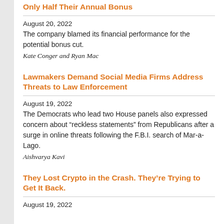Only Half Their Annual Bonus
August 20, 2022
The company blamed its financial performance for the potential bonus cut.
Kate Conger and Ryan Mac
Lawmakers Demand Social Media Firms Address Threats to Law Enforcement
August 19, 2022
The Democrats who lead two House panels also expressed concern about “reckless statements” from Republicans after a surge in online threats following the F.B.I. search of Mar-a-Lago.
Aishvarya Kavi
They Lost Crypto in the Crash. They’re Trying to Get It Back.
August 19, 2022